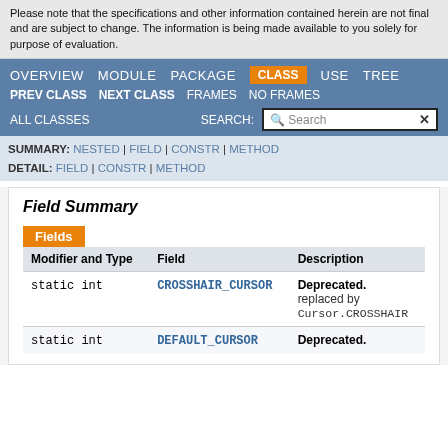Please note that the specifications and other information contained herein are not final and are subject to change. The information is being made available to you solely for purpose of evaluation.
OVERVIEW  MODULE  PACKAGE  CLASS  USE  TREE
PREV CLASS  NEXT CLASS  FRAMES  NO FRAMES  ALL CLASSES  SEARCH:
SUMMARY: NESTED | FIELD | CONSTR | METHOD  DETAIL: FIELD | CONSTR | METHOD
Field Summary
| Modifier and Type | Field | Description |
| --- | --- | --- |
| static int | CROSSHAIR_CURSOR | Deprecated. replaced by Cursor.CROSSHAIR |
| static int | DEFAULT_CURSOR | Deprecated. |